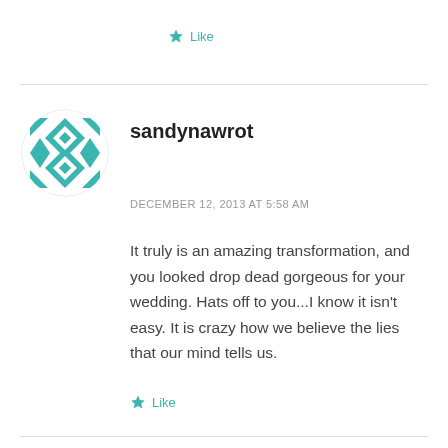Like
[Figure (illustration): User avatar with teal geometric diamond/cross pattern on white background, circular crop]
sandynawrot
DECEMBER 12, 2013 AT 5:58 AM
It truly is an amazing transformation, and you looked drop dead gorgeous for your wedding. Hats off to you...I know it isn't easy. It is crazy how we believe the lies that our mind tells us.
Like